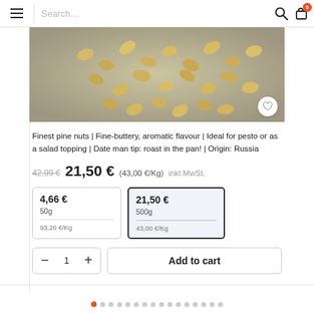Search...
[Figure (photo): Close-up photo of pine nuts scattered on a stone/concrete surface, golden-beige color]
Finest pine nuts | Fine-buttery, aromatic flavour | Ideal for pesto or as a salad topping | Date man tip: roast in the pan! | Origin: Russia
42,99 € 21,50 € (43,00 €/Kg) inkl.MwSt.
| 4,66 € | 21,50 € |
| 50g | 500g |
| 93,20 €/Kg | 43,00 €/Kg |
- 1 + Add to cart